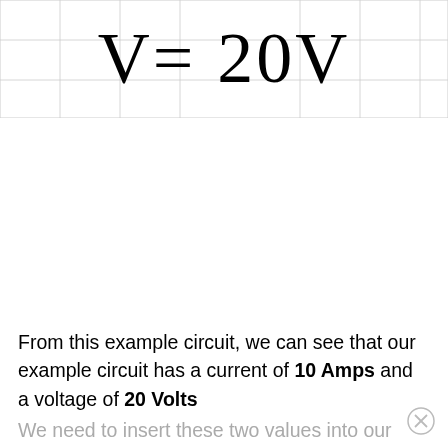From this example circuit, we can see that our example circuit has a current of 10 Amps and a voltage of 20 Volts
We need to insert these two values into our Ohm's